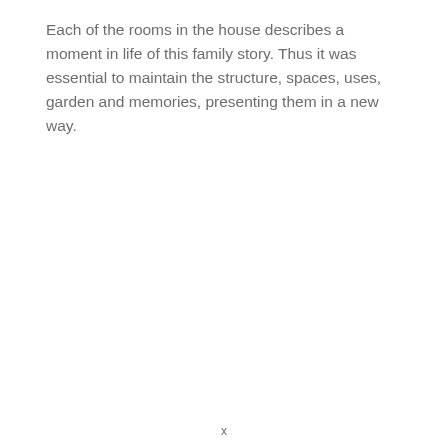Each of the rooms in the house describes a moment in life of this family story. Thus it was essential to maintain the structure, spaces, uses, garden and memories, presenting them in a new way.
x